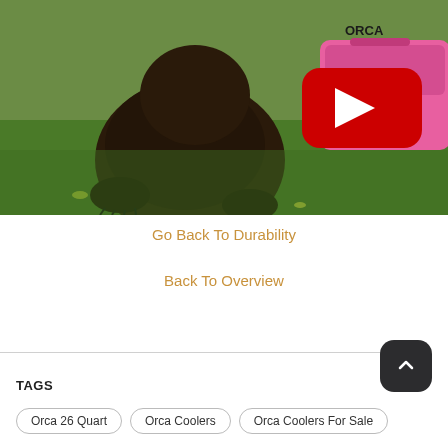[Figure (photo): A bear on green grass outdoors, with a pink ORCA cooler visible on the right side. A YouTube play button overlay is shown in the upper right area of the image.]
Go Back To Durability
Back To Overview
TAGS
Orca 26 Quart
Orca Coolers
Orca Coolers For Sale